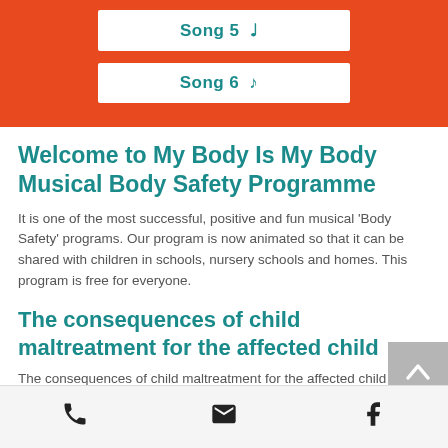Song 5 ♪
Song 6 ♪
Welcome to My Body Is My Body Musical Body Safety Programme
It is one of the most successful, positive and fun musical 'Body Safety' programs. Our program is now animated so that it can be shared with children in schools, nursery schools and homes. This program is free for everyone.
The consequences of child maltreatment for the affected child
The consequences of child maltreatment for the affected child and society as a
📞  ✉  f